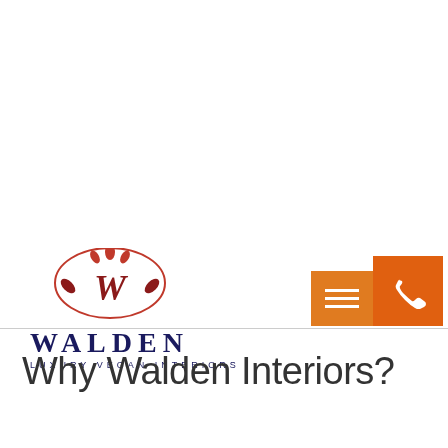[Figure (logo): Walden Luxury Vegan Interiors logo with red ornamental W in a circular frame and deep blue text]
[Figure (other): Orange hamburger menu button and orange phone button in top right area]
Why Walden Interiors?